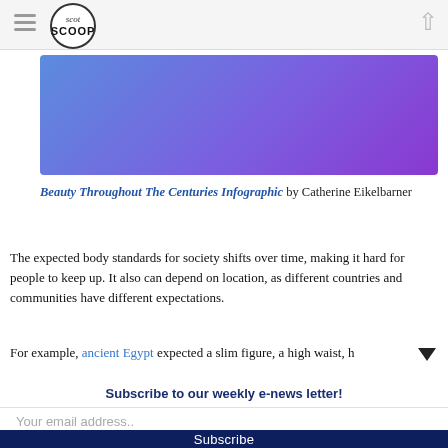Scot Scoop
[Figure (illustration): Blue to purple gradient rectangle, hero image placeholder for Beauty Throughout The Centuries Infographic]
Beauty Throughout The Centuries Infographic by Catherine Eikelbarner
The expected body standards for society shifts over time, making it hard for people to keep up. It also can depend on location, as different countries and communities have different expectations.
For example, ancient Egypt expected a slim figure, a high waist, h
Subscribe to our weekly e-news letter!
Your email address..
Subscribe